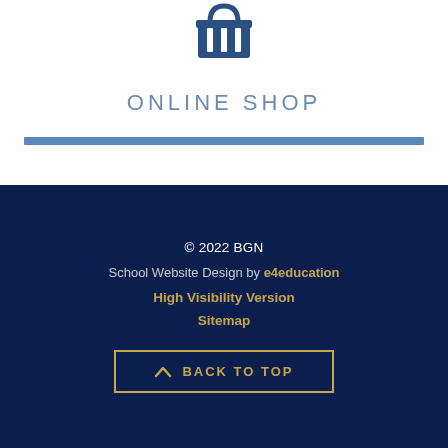[Figure (illustration): Shopping basket / cart icon in dark blue]
ONLINE SHOP
© 2022 BGN
School Website Design by e4education
High Visibility Version
Sitemap
BACK TO TOP